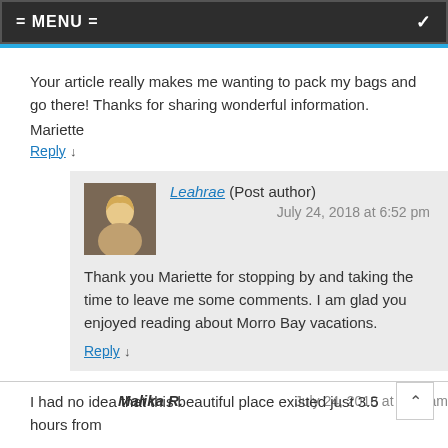= MENU =
Your article really makes me wanting to pack my bags and go there! Thanks for sharing wonderful information.
Mariette
Reply ↓
Leahrae (Post author)
July 24, 2018 at 6:52 pm
Thank you Mariette for stopping by and taking the time to leave me some comments. I am glad you enjoyed reading about Morro Bay vacations.
Reply ↓
Malika R.    July 24, 2018 at 4:15 am
I had no idea that this beautiful place existed just 3.5 hours from